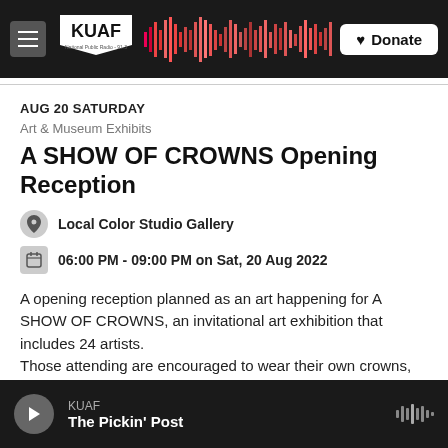KUAF National Public Radio 91.3 - Donate
AUG 20 SATURDAY
Art & Museum Exhibits
A SHOW OF CROWNS Opening Reception
Local Color Studio Gallery
06:00 PM - 09:00 PM on Sat, 20 Aug 2022
A opening reception planned as an art happening for A SHOW OF CROWNS, an invitational art exhibition that includes 24 artists.
Those attending are encouraged to wear their own crowns, join in the Parade of Crowns, compete for prizes
KUAF - The Pickin' Post